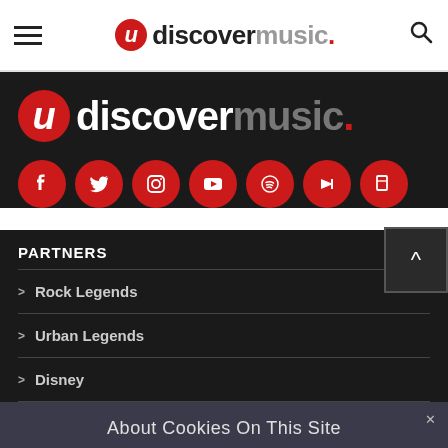uDiscoverMusic navigation bar with hamburger menu and search icon
[Figure (logo): uDiscoverMusic logo in dark section with red circular U icon followed by 'discover' in white and 'music.' in grey with red dot]
[Figure (infographic): Row of 7 red circular social media icons: Facebook, Twitter, Instagram, YouTube, Spotify, and two others]
PARTNERS
> Rock Legends
> Urban Legends
> Disney
About Cookies On This Site
I Understand
Cookie Choices